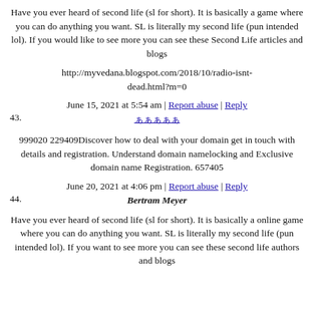Have you ever heard of second life (sl for short). It is basically a game where you can do anything you want. SL is literally my second life (pun intended lol). If you would like to see more you can see these Second Life articles and blogs
http://myvedana.blogspot.com/2018/10/radio-isnt-dead.html?m=0
June 15, 2021 at 5:54 am | Report abuse | Reply
43. ã
999020 229409Discover how to deal with your domain get in touch with details and registration. Understand domain namelocking and Exclusive domain name Registration. 657405
June 20, 2021 at 4:06 pm | Report abuse | Reply
44. Bertram Meyer
Have you ever heard of second life (sl for short). It is basically a online game where you can do anything you want. SL is literally my second life (pun intended lol). If you want to see more you can see these second life authors and blogs